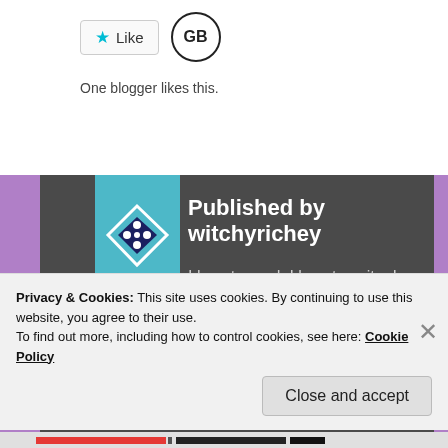[Figure (other): Like button with star icon and GB avatar, showing 'One blogger likes this.']
One blogger likes this.
[Figure (other): Author card with teal ribbon and WordPress logo. Published by witchyrichey. Bio text and View all posts button.]
Published by witchyrichey
I love to read, I love to write. I enjoy sharing my book adventures with you!
View all posts by witchyrichey
August 29, 2019
Privacy & Cookies:  This site uses cookies. By continuing to use this website, you agree to their use.
To find out more, including how to control cookies, see here: Cookie Policy
Close and accept